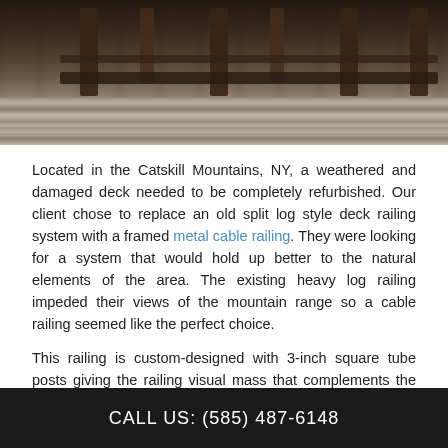[Figure (photo): Weathered deck with log railing structure in the Catskill Mountains, showing timber posts and stone foundation]
Located in the Catskill Mountains, NY, a weathered and damaged deck needed to be completely refurbished. Our client chose to replace an old split log style deck railing system with a framed metal cable railing. They were looking for a system that would hold up better to the natural elements of the area. The existing heavy log railing impeded their views of the mountain range so a cable railing seemed like the perfect choice.
This railing is custom-designed with 3-inch square tube posts giving the railing visual mass that complements the large timber log structure. They also decided to add a floating staircase for easy access to the ground level. The floating stairs have a large rectangular metal tube stringer with metal tread supports and a landing partway down the stairs. The treads, decking, and top rail are made of composite material
CALL US: (585) 487-6148